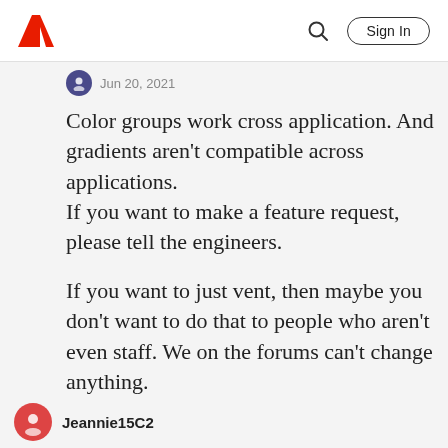Adobe | Sign In
Jun 20, 2021
Color groups work cross application. And gradients aren't compatible across applications.
If you want to make a feature request, please tell the engineers.

If you want to just vent, then maybe you don't want to do that to people who aren't even staff. We on the forums can't change anything.
Like   Translate   ...   Reply
Jeannie15C2